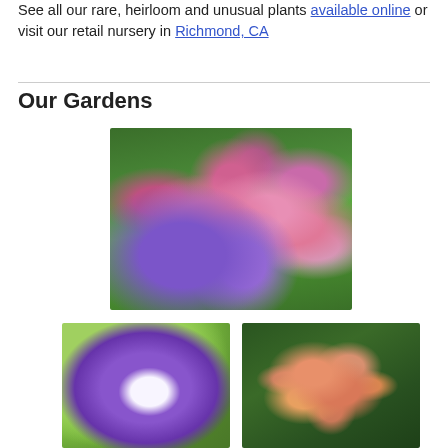See all our rare, heirloom and unusual plants available online or visit our retail nursery in Richmond, CA
Our Gardens
[Figure (photo): A lush garden bed filled with pink cosmos flowers, purple anemones, and various other colorful blooms amid green foliage]
[Figure (photo): Close-up of a purple Scabiosa (pincushion flower) bloom with bright green foliage in the background]
[Figure (photo): Peach and salmon colored snapdragon flowers growing tall against dark green foliage]